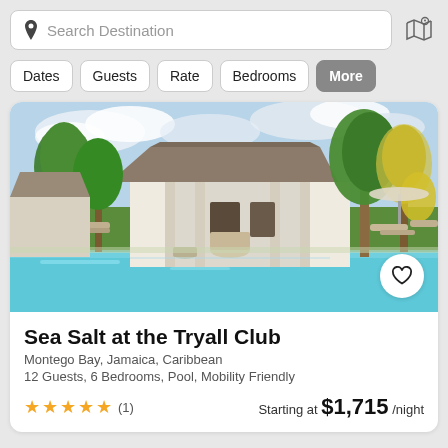Search Destination
Dates
Guests
Rate
Bedrooms
More
[Figure (photo): Luxury villa with swimming pool, palm trees, lounge chairs, and white columned covered patio at the Tryall Club, Jamaica]
Sea Salt at the Tryall Club
Montego Bay, Jamaica, Caribbean
12 Guests, 6 Bedrooms, Pool, Mobility Friendly
★★★★★ (1)   Starting at $1,715 /night